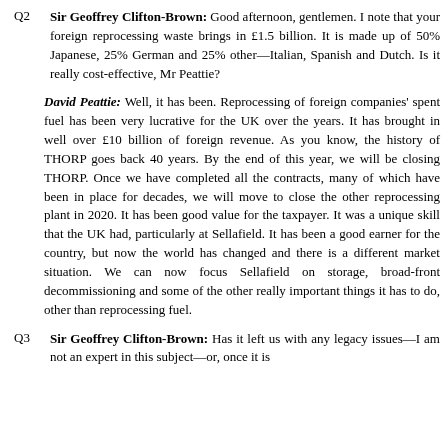Q2  Sir Geoffrey Clifton-Brown: Good afternoon, gentlemen. I note that your foreign reprocessing waste brings in £1.5 billion. It is made up of 50% Japanese, 25% German and 25% other—Italian, Spanish and Dutch. Is it really cost-effective, Mr Peattie?
David Peattie: Well, it has been. Reprocessing of foreign companies' spent fuel has been very lucrative for the UK over the years. It has brought in well over £10 billion of foreign revenue. As you know, the history of THORP goes back 40 years. By the end of this year, we will be closing THORP. Once we have completed all the contracts, many of which have been in place for decades, we will move to close the other reprocessing plant in 2020. It has been good value for the taxpayer. It was a unique skill that the UK had, particularly at Sellafield. It has been a good earner for the country, but now the world has changed and there is a different market situation. We can now focus Sellafield on storage, broad-front decommissioning and some of the other really important things it has to do, other than reprocessing fuel.
Q3  Sir Geoffrey Clifton-Brown: Has it left us with any legacy issues—I am not an expert in this subject—or, once it is